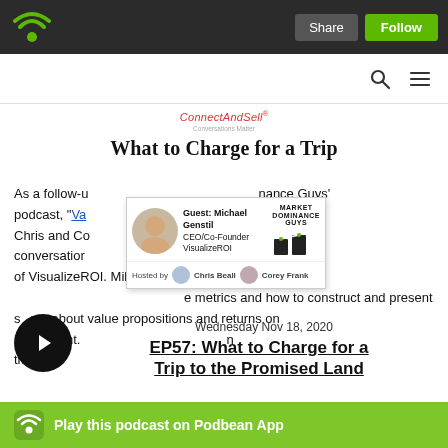Podbean app header with Share and Follow buttons
What to Charge for a Trip
As a follow-up to the Finance Guys' podcast, "Value-Based Metrics," Chris and Corey share two of their conversations with author and CEO of VisualizeROI. Mike and Chris share their insights into value metrics and how to construct and present strong arguments about value propositions and returns on investment. Topics include the best metrics to use in that include customer ROI being addressed as well as where in the
[Figure (screenshot): Market Dominance Guys podcast card featuring guest Michael Genstil, CEO/Co-Founder VisualizeROI, hosted by Chris Beall and Corey Frank]
Wednesday Nov 18, 2020
EP57: What to Charge for a Trip to the Promised Land
Play this podcast on Podbean App